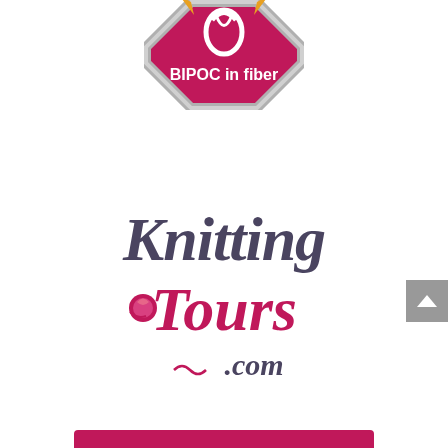[Figure (logo): BIPOC in fiber logo — octagonal badge shape with gray border, magenta/pink fill, white yarn/fiber symbol at top, white text 'BIPOC in fiber' below]
[Figure (logo): Knitting Tours .com logo — 'Knitting' in dark gray script, 'Tours' in magenta/pink script with yarn ball replacing the 'o', '.com' in dark gray below]
[Figure (other): Scroll-to-top button: gray rectangle with white upward chevron arrow on right side of page]
[Figure (other): Pink/magenta horizontal bar at bottom of page]